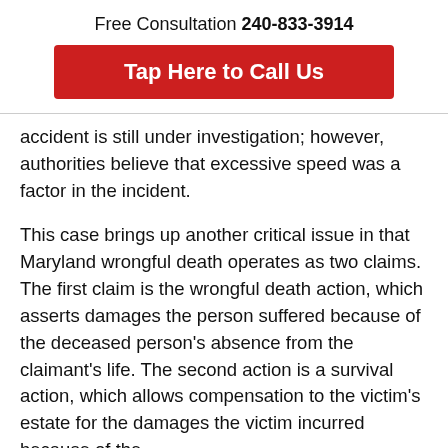Free Consultation 240-833-3914
Tap Here to Call Us
accident is still under investigation; however, authorities believe that excessive speed was a factor in the incident.
This case brings up another critical issue in that Maryland wrongful death operates as two claims. The first claim is the wrongful death action, which asserts damages the person suffered because of the deceased person’s absence from the claimant’s life. The second action is a survival action, which allows compensation to the victim’s estate for the damages the victim incurred because of the